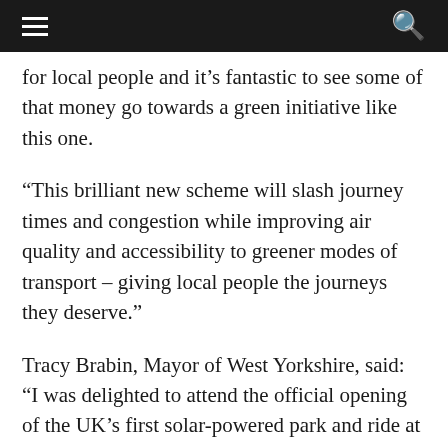[hamburger menu] [search icon]
for local people and it's fantastic to see some of that money go towards a green initiative like this one.
“This brilliant new scheme will slash journey times and congestion while improving air quality and accessibility to greener modes of transport – giving local people the journeys they deserve.”
Tracy Brabin, Mayor of West Yorkshire, said: “I was delighted to attend the official opening of the UK’s first solar-powered park and ride at Stourton, on such a significant anniversary for public transport in West Yorkshire.